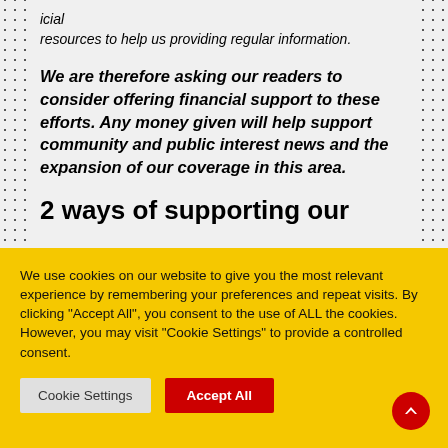icial resources to help us providing regular information.
We are therefore asking our readers to consider offering financial support to these efforts. Any money given will help support community and public interest news and the expansion of our coverage in this area.
2 ways of supporting our
We use cookies on our website to give you the most relevant experience by remembering your preferences and repeat visits. By clicking "Accept All", you consent to the use of ALL the cookies. However, you may visit "Cookie Settings" to provide a controlled consent.